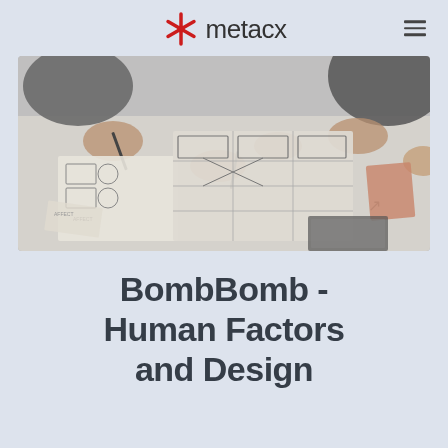metaCX
[Figure (photo): Overhead view of people working on UX wireframe sketches and design diagrams spread across a table, hands visible holding pens, black and white/greyscale image.]
BombBomb - Human Factors and Design